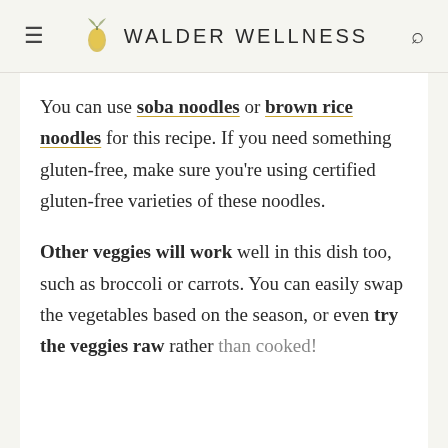WALDER WELLNESS
You can use soba noodles or brown rice noodles for this recipe. If you need something gluten-free, make sure you're using certified gluten-free varieties of these noodles.
Other veggies will work well in this dish too, such as broccoli or carrots. You can easily swap the vegetables based on the season, or even try the veggies raw rather than cooked!